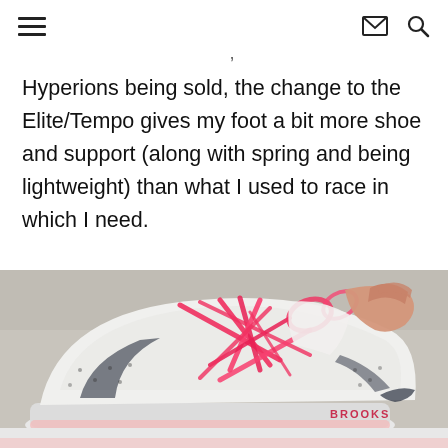☰   ✉ 🔍
Hyperions being sold, the change to the Elite/Tempo gives my foot a bit more shoe and support (along with spring and being lightweight) than what I used to race in which I need.
[Figure (photo): Close-up photo of a white Brooks running shoe (Hyperion) with bright pink/red laces, being held by a hand. The Brooks logo is visible on the side. The shoe is resting on a textured carpet surface.]